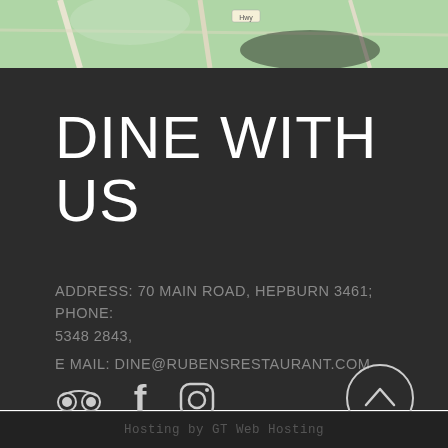[Figure (map): Street map showing area around Hepburn, green vegetation and road network visible at top of page]
DINE WITH US
ADDRESS: 70 MAIN ROAD, HEPBURN 3461; PHONE: 5348 2843,
E MAIL: DINE@RUBENSRESTAURANT.COM
[Figure (illustration): Social media icons: TripAdvisor owl logo, Facebook F logo, Instagram camera logo, and a circular back-to-top arrow button]
Hosting by GT Web Hosting